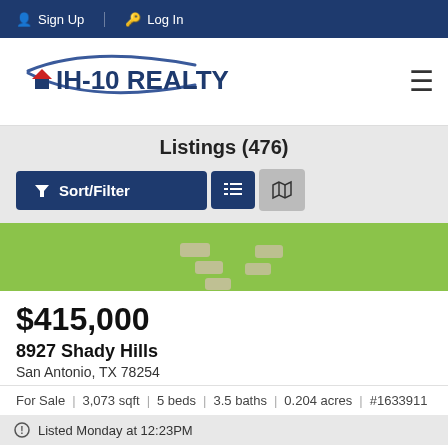Sign Up | Log In
[Figure (logo): IH-10 REALTY logo with swoosh arc and house icon]
Listings (476)
Sort/Filter | List view | Map view buttons
[Figure (photo): Exterior photo of property showing green lawn and pathway]
$415,000
8927 Shady Hills
San Antonio, TX 78254
For Sale | 3,073 sqft | 5 beds | 3.5 baths | 0.204 acres | #1633911
Listed Monday at 12:23PM